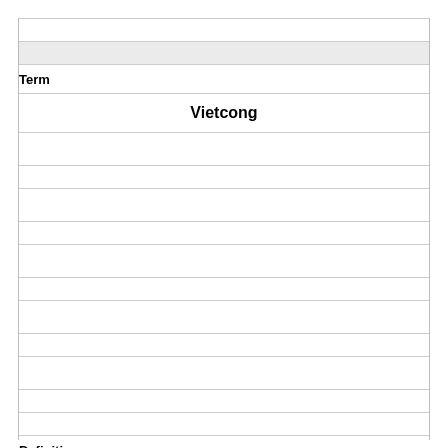| Term | Definition |
| --- | --- |
| Vietcong | Communist insurgents in South Vietnam. (basically a group of South Vietnamese fighting a guerrilla war in the region). |